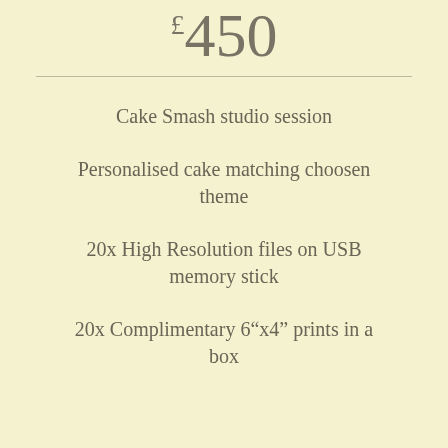£450
Cake Smash studio session
Personalised cake matching choosen theme
20x High Resolution files on USB memory stick
20x Complimentary 6"x4" prints in a box